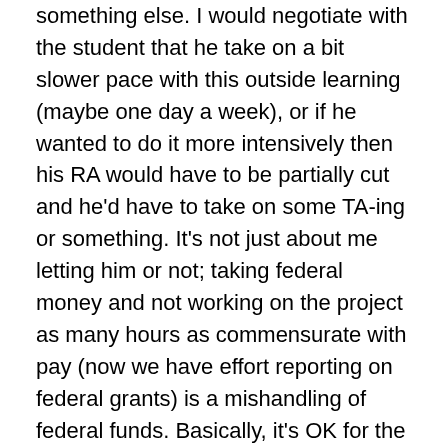something else. I would negotiate with the student that he take on a bit slower pace with this outside learning (maybe one day a week), or if he wanted to do it more intensively then his RA would have to be partially cut and he'd have to take on some TA-ing or something. It's not just about me letting him or not; taking federal money and not working on the project as many hours as commensurate with pay (now we have effort reporting on federal grants) is a mishandling of federal funds. Basically, it's OK for the student to carve out some time for professional development without a change in their RA appointment, but it cannot be an arbitrarily large amount of time. The advisor and student have to work together so that everyone understands wants, needs, and real constraints.
– Project resulted in boring, marginally publishable results,